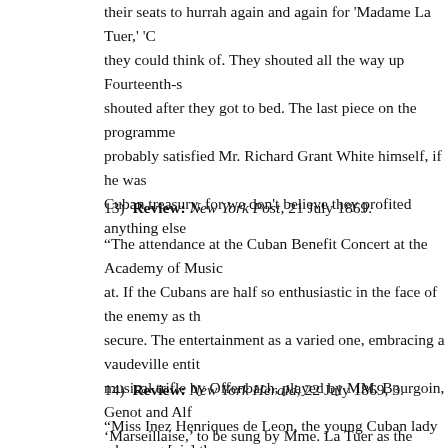their seats to hurrah again and again for 'Madame La Tuer,' 'C they could think of. They shouted all the way up Fourteenth-s shouted after they got to bed. The last piece on the programme probably satisfied Mr. Richard Grant White himself, if he was Cuban treasury, for we don't believe they profited anything else
13)  Review: New York Post, 21 July 1869.
"The attendance at the Cuban Benefit Concert at the Academy of Music at. If the Cubans are half so enthusiastic in the face of the enemy as th secure. The entertainment as a varied one, embracing a vaudeville entit musical trifle by Offenbach, played by MM. Bourgoin, Genot and Alf 'Marseillaise,' to be sung by Mme. La Tuer as the Goddess of Liberty, a of two hundred Cuban volunteers in uniform, was promised in the pro were represented by twenty young men in linen coats, the enthusia possessed the voice of Parepa and been supported by Thomas's orchestr Diani, Lapointe, Baretta and Lucelle was distributed through the eve particular attention and which was doubtless of inestimable benefit to desired; but every one [sic] was pleased, and it was an undoubted pecu
14)  Review: New York Herald, 22 July 1869, 3.
"Miss Inez Henriques de Leon, the young Cuban lady who sung [sic] th Tuesday evening, contemplates making her debut in opera in the fall. S